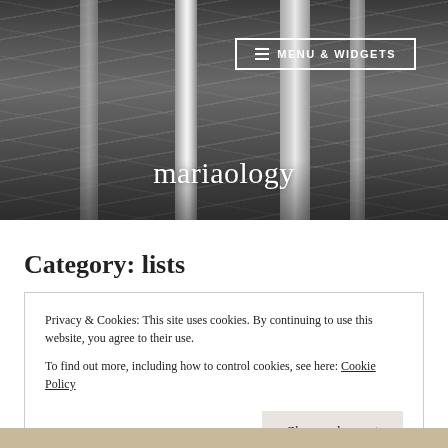[Figure (photo): Black and white photograph of trees/forest serving as website hero banner background]
≡ MENU & WIDGETS
mariaology
Category: lists
Privacy & Cookies: This site uses cookies. By continuing to use this website, you agree to their use.
To find out more, including how to control cookies, see here: Cookie Policy
Close and accept